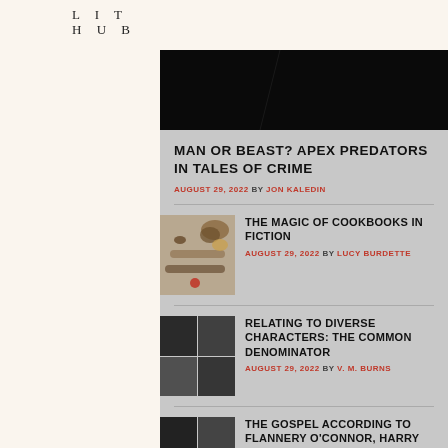LIT HUB
[Figure (photo): Dark hero image, mostly black]
MAN OR BEAST? APEX PREDATORS IN TALES OF CRIME
AUGUST 29, 2022 BY JON KALEDIN
[Figure (photo): Spices on spoons, cookbook related image]
THE MAGIC OF COOKBOOKS IN FICTION
AUGUST 29, 2022 BY LUCY BURDETTE
[Figure (photo): Dark grid of squares, abstract image]
RELATING TO DIVERSE CHARACTERS: THE COMMON DENOMINATOR
AUGUST 29, 2022 BY V. M. BURNS
[Figure (photo): Dark grid of squares, abstract image]
THE GOSPEL ACCORDING TO FLANNERY O'CONNOR, HARRY CREWS, TONI MORRISON AND DONALD RAY POLLOCK